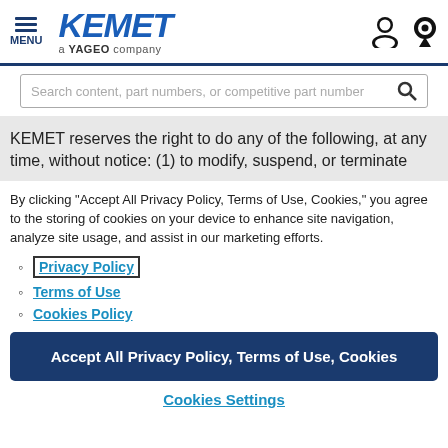[Figure (logo): KEMET logo with hamburger menu icon and MENU label on the left, person and location pin icons on the right. KEMET text in blue bold, 'a YAGEO company' subtitle below.]
Search content, part numbers, or competitive part number
KEMET reserves the right to do any of the following, at any time, without notice: (1) to modify, suspend, or terminate
By clicking “Accept All Privacy Policy, Terms of Use, Cookies,” you agree to the storing of cookies on your device to enhance site navigation, analyze site usage, and assist in our marketing efforts.
Privacy Policy
Terms of Use
Cookies Policy
Accept All Privacy Policy, Terms of Use, Cookies
Cookies Settings